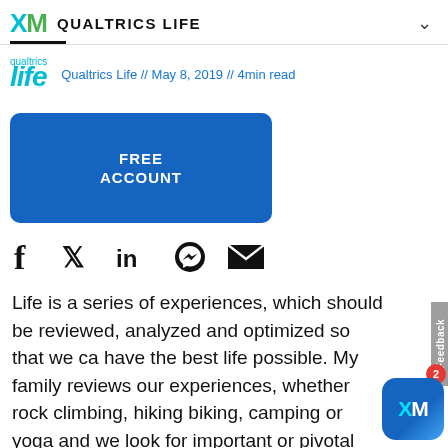XM  QUALTRICS LIFE
Qualtrics Life // May 8, 2019 // 4min read
[Figure (other): Blue rounded rectangle button with text FREE ACCOUNT]
[Figure (other): Social media icons: Facebook, Twitter, LinkedIn, Messenger, Email]
Life is a series of experiences, which should be reviewed, analyzed and optimized so that we can have the best life possible. My family reviews our experiences, whether rock climbing, hiking, biking, camping or yoga and we look for important or pivotal moments and create